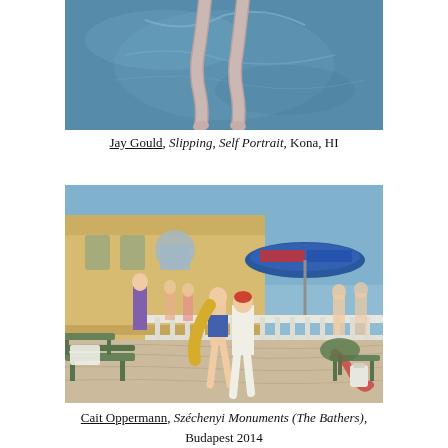[Figure (photo): Overhead view of human legs dangling in blue water, self portrait swimming photo]
Jay Gould, Slipping, Self Portrait, Kona, HI
[Figure (photo): Outdoor photo of people walking at Széchenyi bath complex in Budapest, yellow building with Pepsi umbrella in background, benches in foreground]
Cait Oppermann, Széchenyi Monuments (The Bathers), Budapest 2014